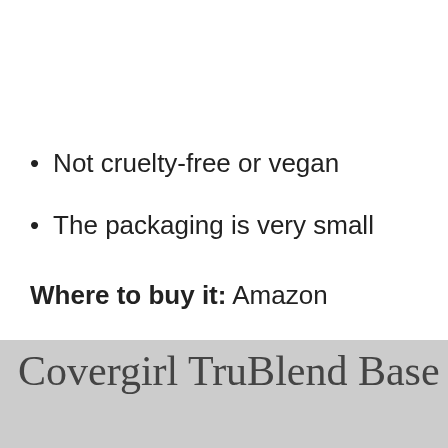Not cruelty-free or vegan
The packaging is very small
Where to buy it: Amazon
Covergirl TruBlend Base